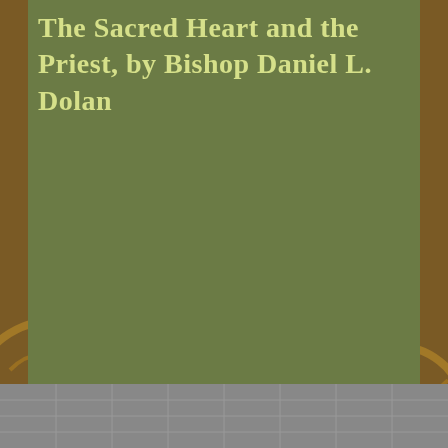The Sacred Heart and the Priest, by Bishop Daniel L. Dolan
[Figure (screenshot): YouTube video player screenshot showing a bishop in purple vestments at a lectern. The video title reads 'The Sacred Heart and the ...' with Roman Catholic Media channel logo. Video duration shows 21:02 with playback at 00:00. A large red YouTube play button overlay is displayed in the center.]